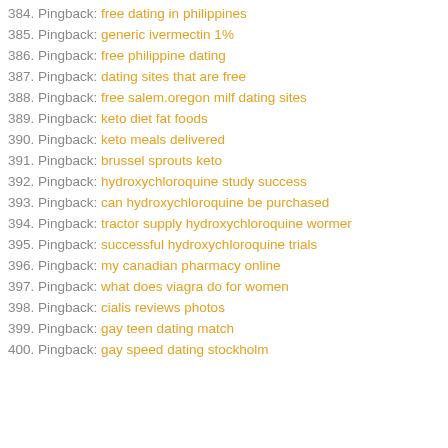384. Pingback: free dating in philippines
385. Pingback: generic ivermectin 1%
386. Pingback: free philippine dating
387. Pingback: dating sites that are free
388. Pingback: free salem.oregon milf dating sites
389. Pingback: keto diet fat foods
390. Pingback: keto meals delivered
391. Pingback: brussel sprouts keto
392. Pingback: hydroxychloroquine study success
393. Pingback: can hydroxychloroquine be purchased
394. Pingback: tractor supply hydroxychloroquine wormer
395. Pingback: successful hydroxychloroquine trials
396. Pingback: my canadian pharmacy online
397. Pingback: what does viagra do for women
398. Pingback: cialis reviews photos
399. Pingback: gay teen dating match
400. Pingback: gay speed dating stockholm